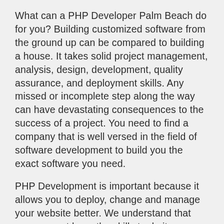What can a PHP Developer Palm Beach do for you? Building customized software from the ground up can be compared to building a house. It takes solid project management, analysis, design, development, quality assurance, and deployment skills. Any missed or incomplete step along the way can have devastating consequences to the success of a project. You need to find a company that is well versed in the field of software development to build you the exact software you need.
PHP Development is important because it allows you to deploy, change and manage your website better. We understand that you may not have the skills to do it on your own so why not let a professional company do it for you? The services of a PHP Developer Palm Beach are essential because they can provide you with all